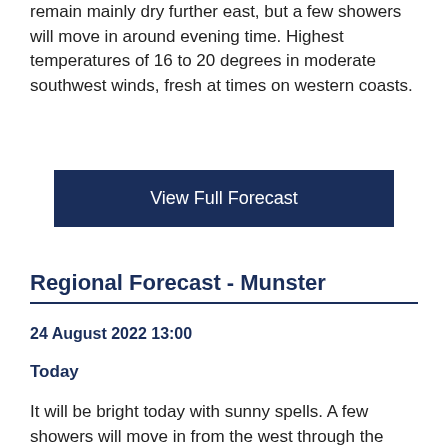remain mainly dry further east, but a few showers will move in around evening time. Highest temperatures of 16 to 20 degrees in moderate southwest winds, fresh at times on western coasts.
View Full Forecast
Regional Forecast - Munster
24 August 2022 13:00
Today
It will be bright today with sunny spells. A few showers will move in from the west through the afternoon.